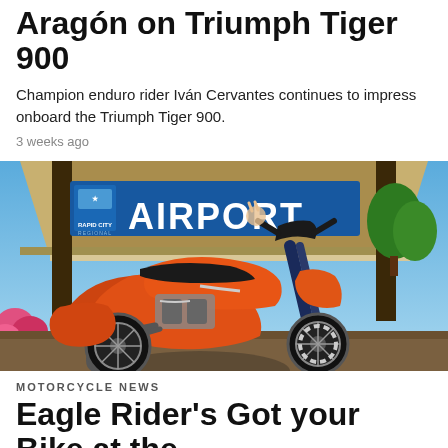Aragón on Triumph Tiger 900
Champion enduro rider Iván Cervantes continues to impress onboard the Triumph Tiger 900.
3 weeks ago
[Figure (photo): Orange and black Harley-Davidson motorcycle parked in front of Rapid City Regional Airport entrance, with blue sky and trees in the background.]
MOTORCYCLE NEWS
Eagle Rider's Got your Bike at the